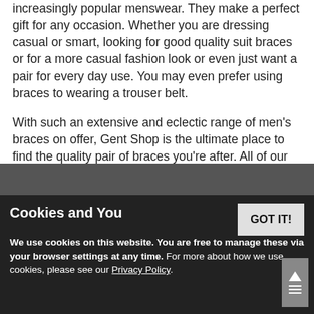increasingly popular menswear. They make a perfect gift for any occasion. Whether you are dressing casual or smart, looking for good quality suit braces or for a more casual fashion look or even just want a pair for every day use. You may even prefer using braces to wearing a trouser belt.
With such an extensive and eclectic range of men's braces on offer, Gent Shop is the ultimate place to find the quality pair of braces you're after. All of our pairs of GS Braces® are UK made.
From classic black braces to polka dot braces, striped braces, patterned braces, paisley braces and much much more, you'll find every style and colour of braces available to buy here. We even offer a wide variety of novelty braces, from skull and music braces to animal braces and more.
[Figure (screenshot): Cookie consent banner overlay on a dark background, showing 'Gents Shop' social card and a cookie notice with GOT IT! button.]